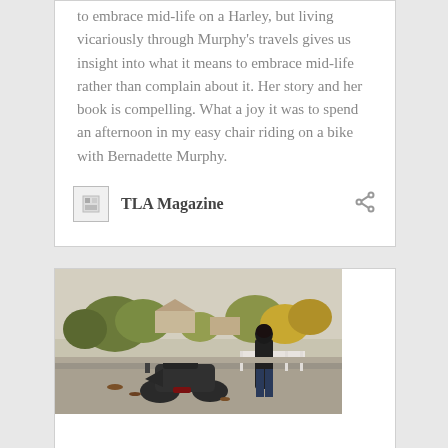to embrace mid-life on a Harley, but living vicariously through Murphy's travels gives us insight into what it means to embrace mid-life rather than complain about it. Her story and her book is compelling. What a joy it was to spend an afternoon in my easy chair riding on a bike with Bernadette Murphy.
TLA Magazine
[Figure (photo): A motorcycle parked on a suburban street with a person in a black leather jacket standing beside a white fence, with trees and houses in the background.]
Feature Bernadette...